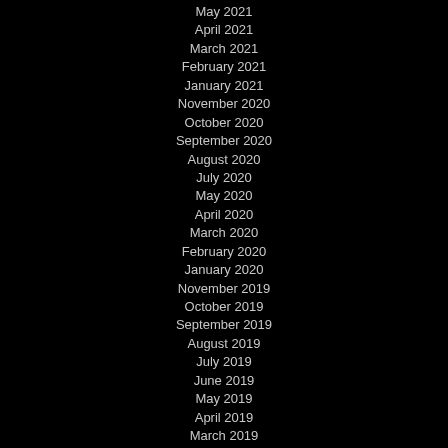May 2021
April 2021
March 2021
February 2021
January 2021
November 2020
October 2020
September 2020
August 2020
July 2020
May 2020
April 2020
March 2020
February 2020
January 2020
November 2019
October 2019
September 2019
August 2019
July 2019
June 2019
May 2019
April 2019
March 2019
February 2019
January 2019
December 2018
November 2018
October 2018
September 2018
August 2018
July 2018